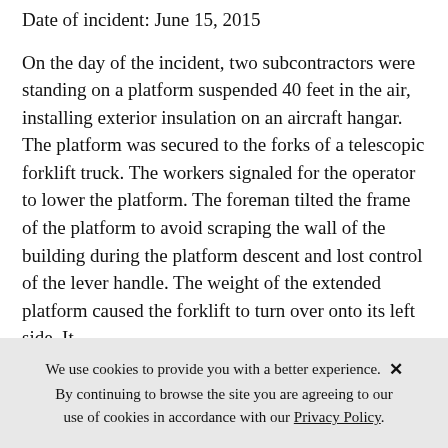Date of incident: June 15, 2015
On the day of the incident, two subcontractors were standing on a platform suspended 40 feet in the air, installing exterior insulation on an aircraft hangar. The platform was secured to the forks of a telescopic forklift truck. The workers signaled for the operator to lower the platform. The foreman tilted the frame of the platform to avoid scraping the wall of the building during the platform descent and lost control of the lever handle. The weight of the extended platform caused the forklift to turn over onto its left side. It
We use cookies to provide you with a better experience. × By continuing to browse the site you are agreeing to our use of cookies in accordance with our Privacy Policy.